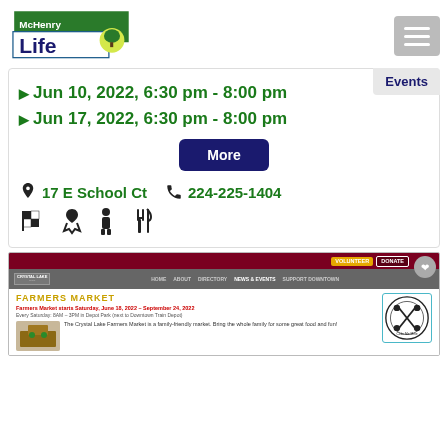[Figure (logo): McHenry Life logo with green banner and tree]
▶ Jun 10, 2022, 6:30 pm  -  8:00 pm
▶ Jun 17, 2022, 6:30 pm  -  8:00 pm
More
17 E School Ct   224-225-1404
[Figure (screenshot): Crystal Lake website screenshot showing Farmers Market page]
FARMERS MARKET
Farmers Market starts Saturday, June 18, 2022 – September 24, 2022
Every Saturday: 8AM – 3PM in Depot Park (next to Downtown Train Depot)
The Crystal Lake Farmers Market is a family-friendly market. Bring the whole family for some great food and fun!